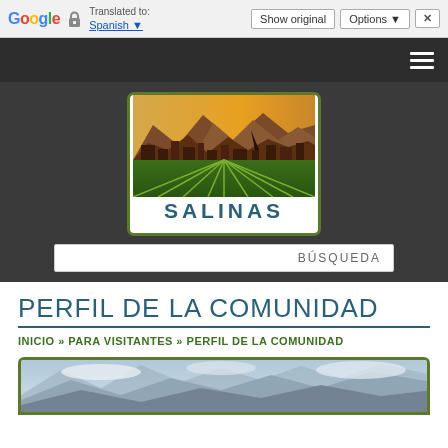Translated to: Spanish | Show original | Options | X
[Figure (logo): Salinas city logo with agricultural fields and mountain skyline silhouette, text SALINAS below]
BÚSQUEDA
PERFIL DE LA COMUNIDAD
INICIO » PARA VISITANTES » PERFIL DE LA COMUNIDAD
[Figure (photo): Mountain landscape photo with cloudy sky, partially visible at bottom of page]